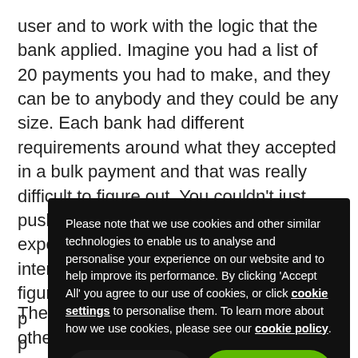user and to work with the logic that the bank applied. Imagine you had a list of 20 payments you had to make, and they can be to anybody and they could be any size. Each bank had different requirements around what they accepted in a bulk payment and that was really difficult to figure out. You couldn't just push these 20 payments to a bank and expect it to work. A lot of that was a user interface design exercise, we had to figure out the least p p e le Y g 5 to
[Figure (other): Cookie consent overlay on black background with text about cookies and two buttons: REJECT and ACCEPT ALL]
The UK is way ahead, I think the only other market so far